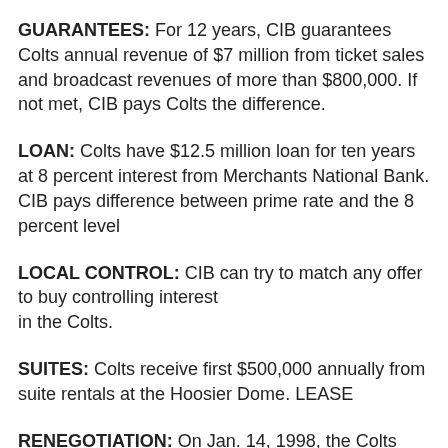GUARANTEES: For 12 years, CIB guarantees Colts annual revenue of $7 million from ticket sales and broadcast revenues of more than $800,000. If not met, CIB pays Colts the difference.
LOAN: Colts have $12.5 million loan for ten years at 8 percent interest from Merchants National Bank. CIB pays difference between prime rate and the 8 percent level
LOCAL CONTROL: CIB can try to match any offer to buy controlling interest in the Colts.
SUITES: Colts receive first $500,000 annually from suite rentals at the Hoosier Dome. LEASE
RENEGOTIATION: On Jan. 14, 1998, the Colts and the city agreed to a renegotiated lease which would give the team $8.9 million from advertising, parking and suite revenues at home games. The